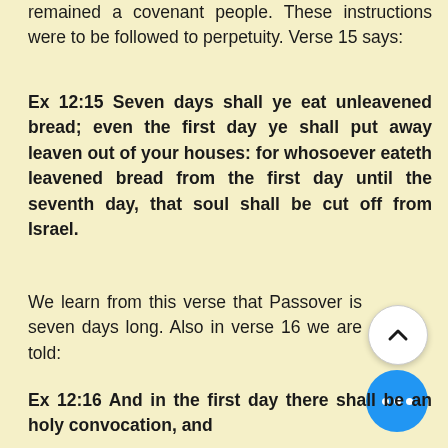remained a covenant people.  These instructions were to be followed to perpetuity.  Verse 15 says:
Ex 12:15  Seven days shall ye eat unleavened bread; even the first day ye shall put away leaven out of your houses: for whosoever eateth leavened bread from the first day until the seventh day, that soul shall be cut off from Israel.
We learn from this verse that Passover is seven days long.  Also in verse 16 we are told:
Ex 12:16  And in the first day there shall be an holy convocation, and